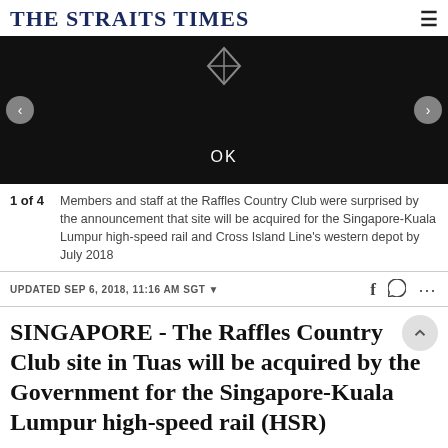THE STRAITS TIMES
[Figure (photo): Dark/black background photo with navigation arrows on left and right, a kite/diamond icon at top center, and an OK button overlay at bottom center. Part of a 4-image slideshow.]
1 of 4  Members and staff at the Raffles Country Club were surprised by the announcement that site will be acquired for the Singapore-Kuala Lumpur high-speed rail and Cross Island Line's western depot by July 2018
UPDATED SEP 6, 2018, 11:16 AM SGT
SINGAPORE - The Raffles Country Club site in Tuas will be acquired by the Government for the Singapore-Kuala Lumpur high-speed rail (HSR)